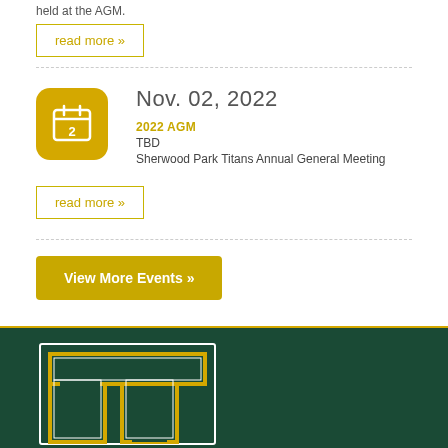held at the AGM.
read more »
Nov. 02, 2022
2022 AGM
TBD
Sherwood Park Titans Annual General Meeting
read more »
View More Events »
[Figure (logo): Sherwood Park Titans double-T logo in gold outline on dark green background]